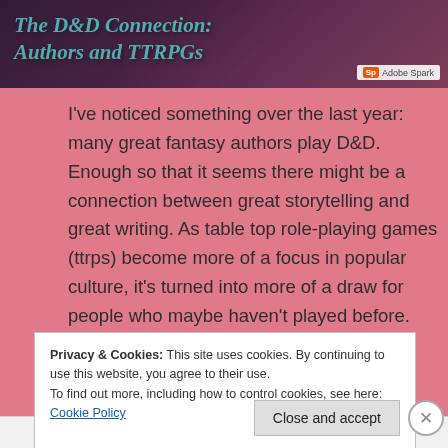[Figure (illustration): Banner image with dark purple/maroon background and teal italic bold text reading 'The D&D Connection: Authors and TTRPGs' with Adobe Spark watermark in bottom right corner]
I've noticed something over the last year: many great fantasy authors play D&D. Enough so that it seems there might be a connection between great storytelling and great writing. As table top role-playing games (ttrps) become more of a focus in popular culture, it's turned into more of a draw for people who may haven't played before. From being considered the game of outsiders and socially
Privacy & Cookies: This site uses cookies. By continuing to use this website, you agree to their use.
To find out more, including how to control cookies, see here: Cookie Policy
Close and accept
Advertisements